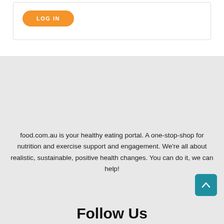[Figure (screenshot): Orange LOG IN button on white card area at top of page]
food.com.au is your healthy eating portal. A one-stop-shop for nutrition and exercise support and engagement. We're all about realistic, sustainable, positive health changes. You can do it, we can help!
Follow Us